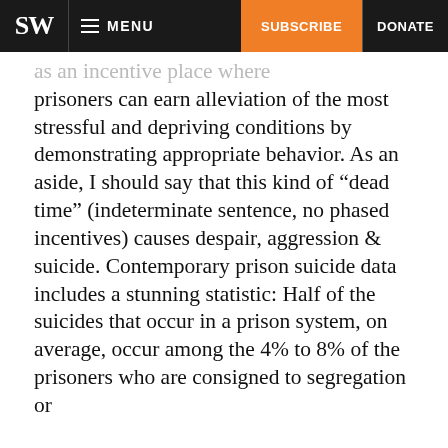SW  MENU  SUBSCRIBE  DONATE
...as an incentive place where prisoners can earn alleviation of the most stressful and depriving conditions by demonstrating appropriate behavior.  As an aside, I should say that this kind of “dead time” (indeterminate sentence, no phased incentives) causes despair, aggression & suicide.  Contemporary prison suicide data includes a stunning statistic:  Half of the suicides that occur in a prison system, on average, occur among the 4% to 8% of the prisoners who are consigned to segregation or